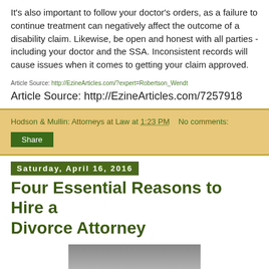It's also important to follow your doctor's orders, as a failure to continue treatment can negatively affect the outcome of a disability claim. Likewise, be open and honest with all parties - including your doctor and the SSA. Inconsistent records will cause issues when it comes to getting your claim approved.
Article Source: http://EzineArticles.com/?expert=Robertson_Wendt
Article Source: http://EzineArticles.com/7257918
Hodson & Mullin: Attorneys at Law at 1:23 PM    No comments:
Share
Saturday, April 16, 2016
Four Essential Reasons to Hire a Divorce Attorney
[Figure (photo): A photo partially visible at the bottom of the page]